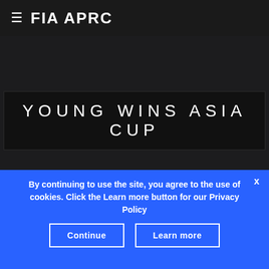≡ FIA APRC
YOUNG WINS ASIA CUP
By continuing to use the site, you agree to the use of cookies. Click the Learn more button for our Privacy Policy
Continue  Learn more